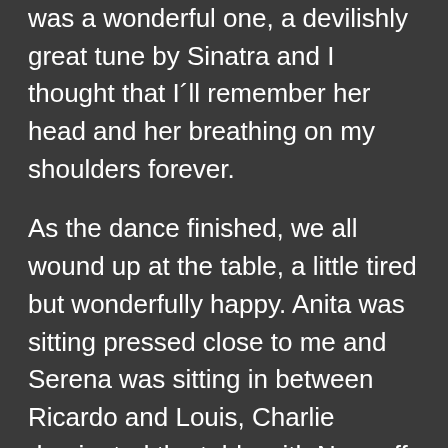was a wonderful one, a devilishly great tune by Sinatra and I thought that I'll remember her head and her breathing on my shoulders forever.
As the dance finished, we all wound up at the table, a little tired but wonderfully happy. Anita was sitting pressed close to me and Serena was sitting in between Ricardo and Louis, Charlie dominated the table with Nem off to a side.
“And now we get to play the great expose!' he announced and we all groaned. Everybody who knew Charlie knew the expose – it was a stupid game where everybody has to tell one secret that they had always hid from the any one of